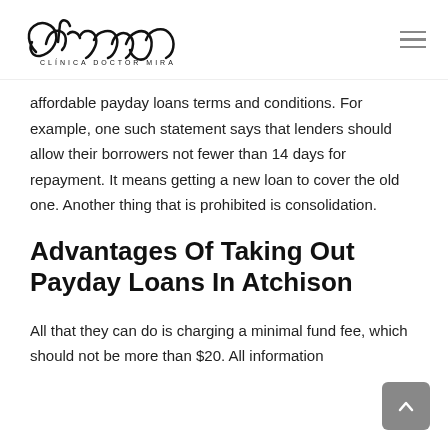CLÍNICA DOCTOR MIRA
affordable payday loans terms and conditions. For example, one such statement says that lenders should allow their borrowers not fewer than 14 days for repayment. It means getting a new loan to cover the old one. Another thing that is prohibited is consolidation.
Advantages Of Taking Out Payday Loans In Atchison
All that they can do is charging a minimal fund fee, which should not be more than $20. All information